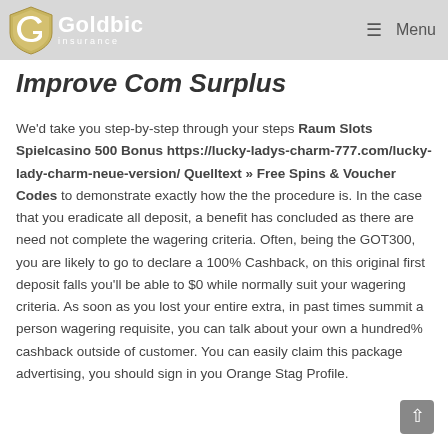Goldbic Insurance — Menu
Improve Com Surplus
We'd take you step-by-step through your steps Raum Slots Spielcasino 500 Bonus https://lucky-ladys-charm-777.com/lucky-lady-charm-neue-version/ Quelltext » Free Spins & Voucher Codes to demonstrate exactly how the the procedure is. In the case that you eradicate all deposit, a benefit has concluded as there are need not complete the wagering criteria. Often, being the GOT300, you are likely to go to declare a 100% Cashback, on this original first deposit falls you'll be able to $0 while normally suit your wagering criteria. As soon as you lost your entire extra, in past times summit a person wagering requisite, you can talk about your own a hundred% cashback outside of customer. You can easily claim this package advertising, you should sign in you Orange Stag Profile.